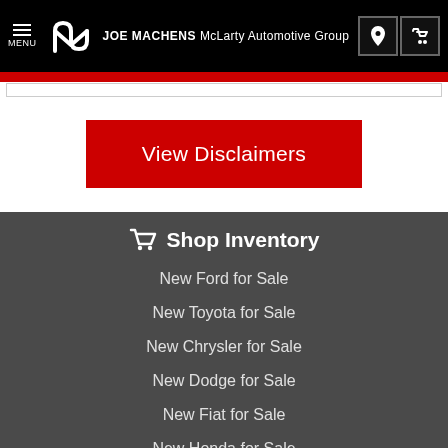JOE MACHENS McLarty Automotive Group
View Disclaimers
Shop Inventory
New Ford for Sale
New Toyota for Sale
New Chrysler for Sale
New Dodge for Sale
New Fiat for Sale
New Honda for Sale